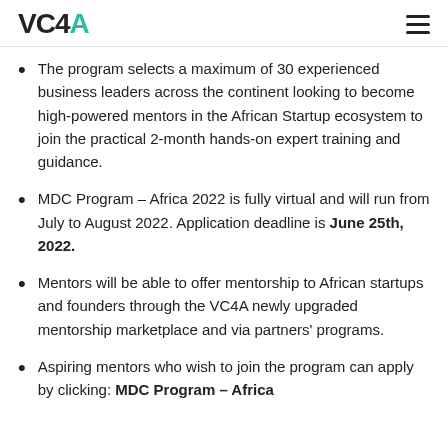VC4A
The program selects a maximum of 30 experienced business leaders across the continent looking to become high-powered mentors in the African Startup ecosystem to join the practical 2-month hands-on expert training and guidance.
MDC Program – Africa 2022 is fully virtual and will run from July to August 2022. Application deadline is June 25th, 2022.
Mentors will be able to offer mentorship to African startups and founders through the VC4A newly upgraded mentorship marketplace and via partners' programs.
Aspiring mentors who wish to join the program can apply by clicking: MDC Program – Africa